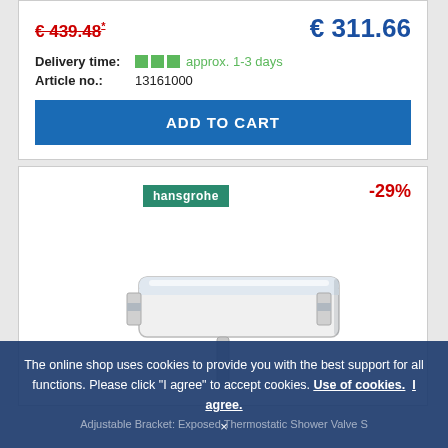€ 439.48* (strikethrough, old price) | € 311.66 (new price)
Delivery time: approx. 1-3 days
Article no.: 13161000
ADD TO CART
[Figure (photo): Hansgrohe thermostatic shower/bath valve product image, chrome rectangular mixer with bottom pipe, shown in white background. Hansgrohe brand label and -29% discount badge visible.]
The online shop uses cookies to provide you with the best support for all functions. Please click "I agree" to accept cookies. Use of cookies. I agree.
×